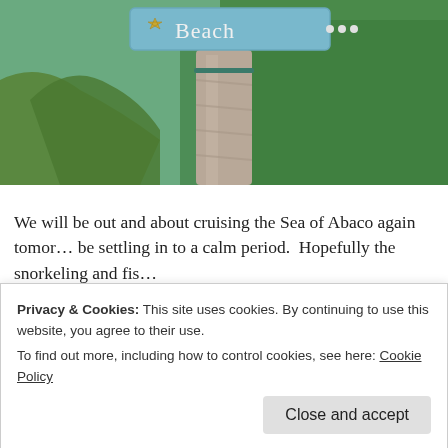[Figure (photo): Outdoor photo of a beach sign reading 'Beach' mounted on a palm tree trunk, surrounded by tropical foliage and green bushes]
We will be out and about cruising the Sea of Abaco again tomor... be settling in to a calm period.  Hopefully the snorkeling and fis...
This entry was posted in Underway. Bookmark the permalink.
Privacy & Cookies: This site uses cookies. By continuing to use this website, you agree to their use.
To find out more, including how to control cookies, see here: Cookie Policy
Close and accept